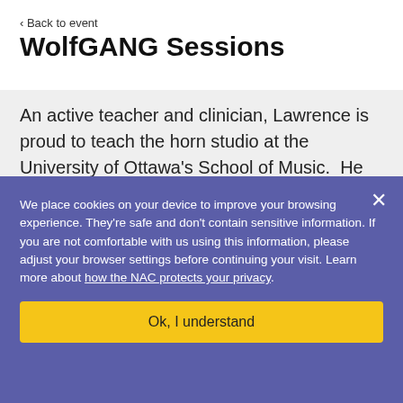‹ Back to event
WolfGANG Sessions
An active teacher and clinician, Lawrence is proud to teach the horn studio at the University of Ottawa's School of Music. He previously taught at the University of Manitoba, and has
We place cookies on your device to improve your browsing experience. They're safe and don't contain sensitive information. If you are not comfortable with us using this information, please adjust your browser settings before continuing your visit. Learn more about how the NAC protects your privacy.
Ok, I understand